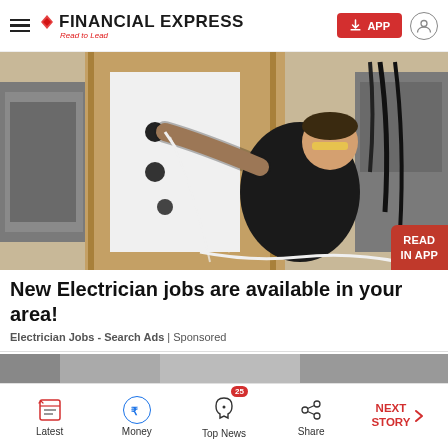Financial Express — Read to Lead
[Figure (photo): A young electrician wearing safety glasses and a black polo shirt working on electrical wiring in a wall framing structure, with electrical panels and cables visible on either side.]
New Electrician jobs are available in your area!
Electrician Jobs - Search Ads | Sponsored
[Figure (photo): Partial view of a next article strip at the bottom of the page.]
Latest | Money | Top News 25 | Share | NEXT STORY